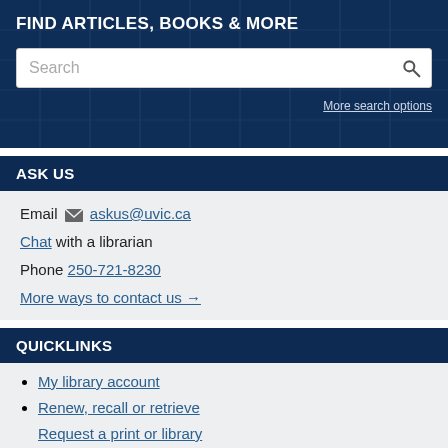FIND ARTICLES, BOOKS & MORE
[Figure (screenshot): Search bar with placeholder text 'Search' and a magnifying glass icon on a dark navy blue background with grid/window pattern]
More search options
ASK US
Email askus@uvic.ca
Chat with a librarian
Phone 250-721-8230
More ways to contact us →
QUICKLINKS
My library account
Renew, recall or retrieve
Request a print or library...